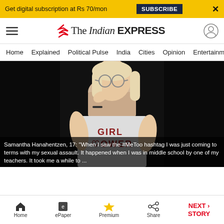Get digital subscription at Rs 70/mon  SUBSCRIBE  X
[Figure (logo): The Indian Express logo with red swoosh icon]
Home  Explained  Political Pulse  India  Cities  Opinion  Entertainment
[Figure (photo): Young woman with blonde hair and glasses, wearing a white 'GIRL POWER' t-shirt and cream scarf, on dark background]
Samantha Hanahentzen, 17: "When I saw the #MeToo hashtag I was just coming to terms with my sexual assault. It happened when I was in middle school by one of my teachers. It took me a while to ..."
Home  ePaper  Premium  Share  NEXT STORY